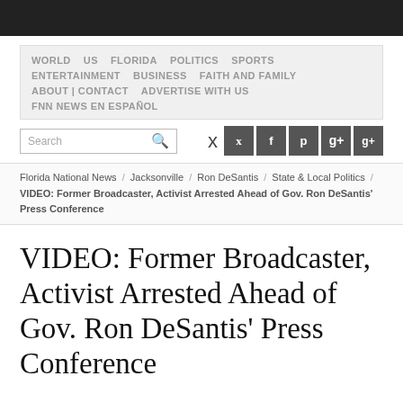WORLD   US   FLORIDA   POLITICS   SPORTS   ENTERTAINMENT   BUSINESS   FAITH AND FAMILY   ABOUT | CONTACT   ADVERTISE WITH US   FNN NEWS EN ESPAÑOL
Search [social icons: Twitter, Facebook, Pinterest, Google+]
Florida National News / Jacksonville / Ron DeSantis / State & Local Politics / VIDEO: Former Broadcaster, Activist Arrested Ahead of Gov. Ron DeSantis' Press Conference
VIDEO: Former Broadcaster, Activist Arrested Ahead of Gov. Ron DeSantis' Press Conference